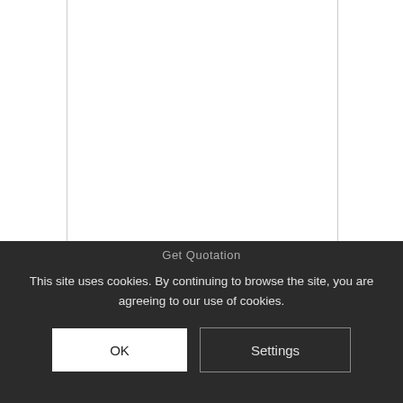[Figure (screenshot): White page area with left and right vertical borders forming a content column, mostly blank.]
Get Quotation
This site uses cookies. By continuing to browse the site, you are agreeing to our use of cookies.
OK
Settings